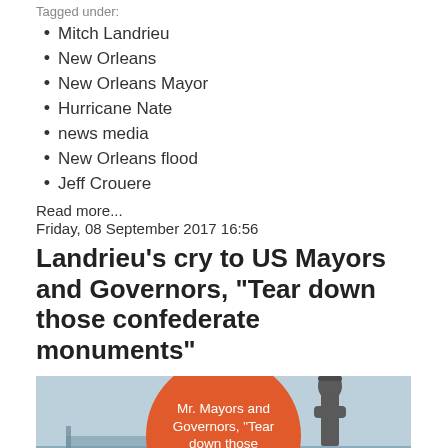Tagged under:
Mitch Landrieu
New Orleans
New Orleans Mayor
Hurricane Nate
news media
New Orleans flood
Jeff Crouere
Read more...
Friday, 08 September 2017 16:56
Landrieu's cry to US Mayors and Governors, "Tear down those confederate monuments"
[Figure (photo): Photo with orange circle overlay reading 'Mr. Mayors and Governors, "Tear down those monuments"' with a statue silhouette in the background]